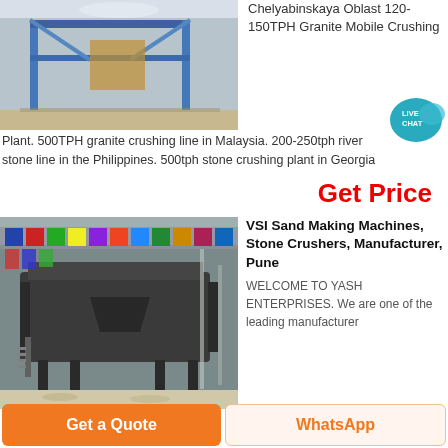[Figure (photo): Industrial warehouse interior with metal frame structure, blue steel rails visible]
Chelyabinskaya Oblast 120-150TPH Granite Mobile Crushing Plant. 500TPH granite crushing line in Malaysia. 200-250tph river stone line in the Philippines. 500tph stone crushing plant in Georgia
Get Price
[Figure (photo): Large industrial VSI sand making machine or stone crusher displayed in a hall decorated with international flags]
VSI Sand Making Machines, Stone Crushers, Manufacturer, Pune
WELCOME TO YASH ENTERPRISES. We are one of the leading manufacturer
Get a Quote
WhatsApp